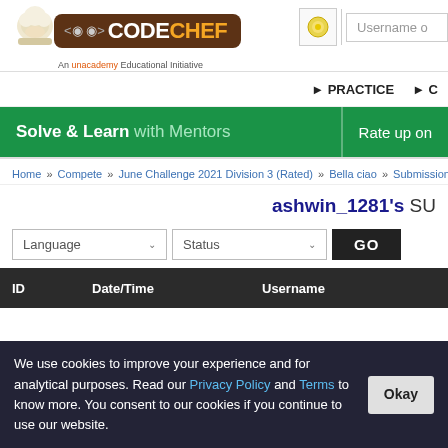[Figure (logo): CodeChef logo with chef hat mascot and brown badge. Text reads CODECHEF. Subtitle: An unacademy Educational Initiative]
Username o (input field)
▶ PRACTICE  ▶ C
Solve & Learn with Mentors    Rate up on
Home » Compete » June Challenge 2021 Division 3 (Rated) » Bella ciao » Submissions
ashwin_1281's SU
Language ∨   Status ∨   GO
| ID | Date/Time | Username |
| --- | --- | --- |
We use cookies to improve your experience and for analytical purposes. Read our Privacy Policy and Terms to know more. You consent to our cookies if you continue to use our website.